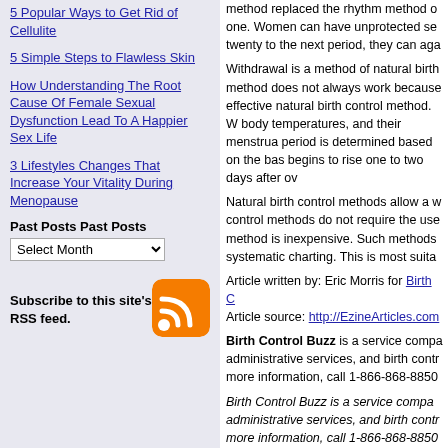5 Popular Ways to Get Rid of Cellulite
5 Simple Steps to Flawless Skin
How Understanding The Root Cause Of Female Sexual Dysfunction Lead To A Happier Sex Life
3 Lifestyles Changes That Increase Your Vitality During Menopause
Past Posts Past Posts
Subscribe to this site's RSS feed.
method replaced the rhythm method of one. Women can have unprotected sex twenty to the next period, they can again
Withdrawal is a method of natural birth method does not always work because effective natural birth control method. Women body temperatures, and their menstrual period is determined based on the basal begins to rise one to two days after ovu
Natural birth control methods allow a woman control methods do not require the use of method is inexpensive. Such methods systematic charting. This is most suitable
Article written by: Eric Morris for Birth C Article source: http://EzineArticles.com
Birth Control Buzz is a service company administrative services, and birth control more information, call 1-866-868-8850
Birth Control Buzz is a service company administrative services, and birth control more information, call 1-866-868-8850
Comments (1)